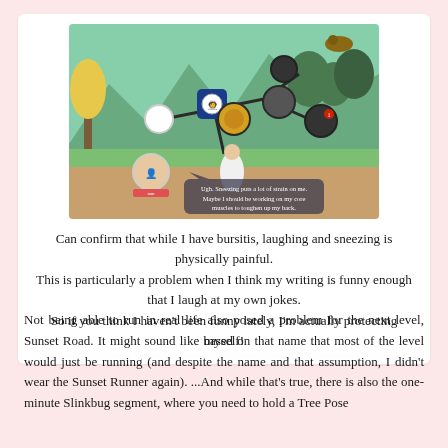[Figure (screenshot): Screenshot of a mobile game showing a map/adventure scene with cartoon characters, trees, mountains, and a speech bubble reading 'Ugh. Sneezing puts a lot of strain on me. Maybe I should be working on my core muscles to toughen up my back.']
Can confirm that while I have bursitis, laughing and sneezing is physically painful.
This is particularly a problem when I think my writing is funny enough that I laugh at my own jokes.
So if you think I haven't been funny lately, I'm actually protecting myself!
Not being able to run in real life also posed a problem for the next level, Sunset Road. It might sound like based on that name that most of the level would just be running (and despite the name and that assumption, I didn't wear the Sunset Runner again). ...And while that's true, there is also the one-minute Slinkbug segment, where you need to hold a Tree Pose